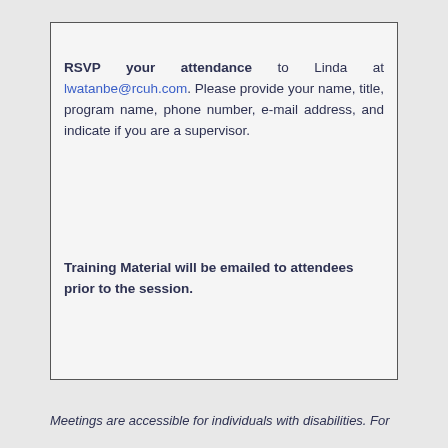RSVP your attendance to Linda at lwatanbe@rcuh.com. Please provide your name, title, program name, phone number, e-mail address, and indicate if you are a supervisor.
Training Material will be emailed to attendees prior to the session.
Meetings are accessible for individuals with disabilities. For